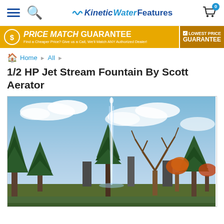Kinetic Water Features — navigation with hamburger menu, search icon, logo, cart (0)
[Figure (infographic): Gold price match guarantee banner: PRICE MATCH GUARANTEE — Find a Cheaper Price? Give us a Call, We'll Match ANY Authorized Dealer! LOWEST PRICE GUARANTEE]
Home ▶ All ▶
1/2 HP Jet Stream Fountain By Scott Aerator
[Figure (photo): Outdoor photo of a jet stream fountain shooting a tall column of water against a blue partly cloudy sky, surrounded by pine and deciduous trees in autumn foliage]